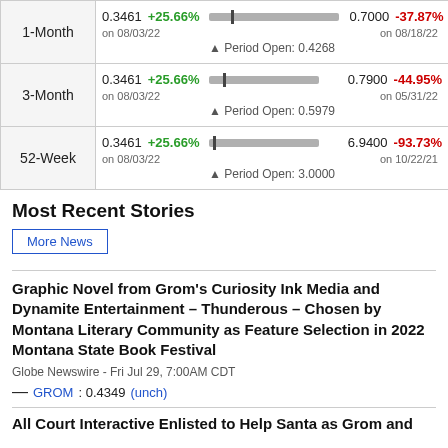| Period | Range / Period Open | Clip |
| --- | --- | --- |
| 1-Month | 0.3461 +25.66%  [bar]  0.7000 -37.87%
on 08/03/22  Period Open: 0.4268  on 08/18/22 | +s |
| 3-Month | 0.3461 +25.66%  [bar]  0.7900 -44.95%
on 08/03/22  Period Open: 0.5979  on 05/31/22 | -s |
| 52-Week | 0.3461 +25.66%  [bar]  6.9400 -93.73%
on 08/03/22  Period Open: 3.0000  on 10/22/21 | -s |
Most Recent Stories
More News
Graphic Novel from Grom’s Curiosity Ink Media and Dynamite Entertainment – Thunderous – Chosen by Montana Literary Community as Feature Selection in 2022 Montana State Book Festival
Globe Newswire - Fri Jul 29, 7:00AM CDT
GROM : 0.4349 (unch)
All Court Interactive Enlisted to Help Santa as Grom and